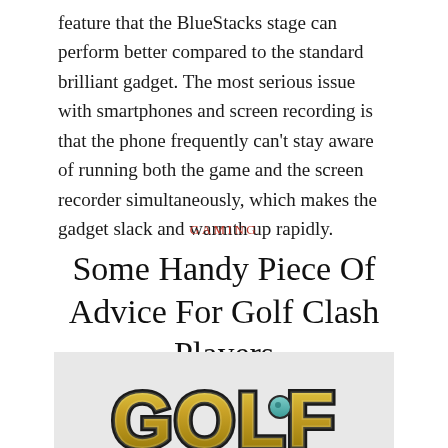feature that the BlueStacks stage can perform better compared to the standard brilliant gadget. The most serious issue with smartphones and screen recording is that the phone frequently can't stay aware of running both the game and the screen recorder simultaneously, which makes the gadget slack and warmth up rapidly.
GAMING
Some Handy Piece Of Advice For Golf Clash Players
[Figure (photo): Golf Clash game logo with bold gold and dark lettered text reading GOLF CLASH on a styled 3D emblem background]